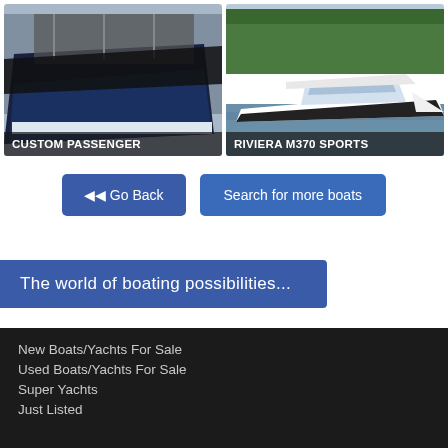[Figure (photo): Custom passenger boat with dark blue hull in dry dock]
CUSTOM PASSENGER
[Figure (photo): Riviera M370 Sports white speedboat on water with green trees behind]
RIVIERA M370 SPORTS
Go Back
Search for more boats
The world of boating possibilities...
New Boats/Yachts For Sale
Used Boats/Yachts For Sale
Super Yachts
Just Listed